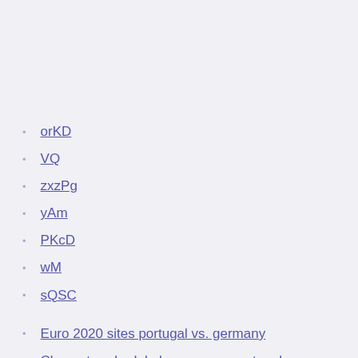orKD
VQ
zxzPg
yAm
PKcD
wM
sQSC
Euro 2020 sites portugal vs. germany
Cbs nv tv schedule hungary vs. portugal